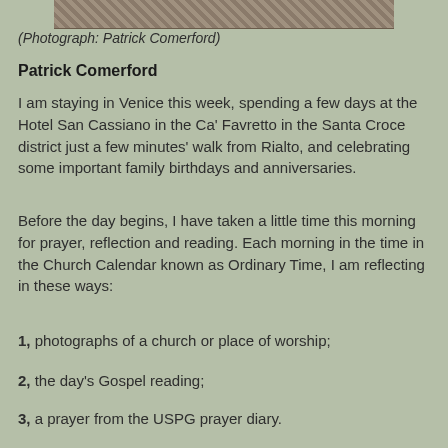[Figure (photo): Partial view of a stone or brick pavement photograph at the top of the page]
(Photograph: Patrick Comerford)
Patrick Comerford
I am staying in Venice this week, spending a few days at the Hotel San Cassiano in the Ca' Favretto in the Santa Croce district just a few minutes' walk from Rialto, and celebrating some important family birthdays and anniversaries.
Before the day begins, I have taken a little time this morning for prayer, reflection and reading. Each morning in the time in the Church Calendar known as Ordinary Time, I am reflecting in these ways:
1, photographs of a church or place of worship;
2, the day's Gospel reading;
3, a prayer from the USPG prayer diary.